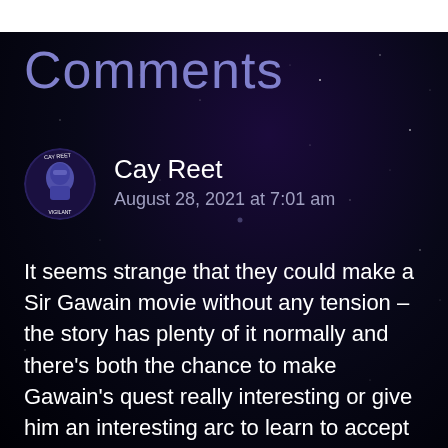Comments
Cay Reet
August 28, 2021 at 7:01 am
It seems strange that they could make a Sir Gawain movie without any tension – the story has plenty of it normally and there's both the chance to make Gawain's quest really interesting or give him an interesting arc to learn to accept the return blow which will kill him, since he's not an ent who's fine without a head. That, too, could be a very interesting movie.